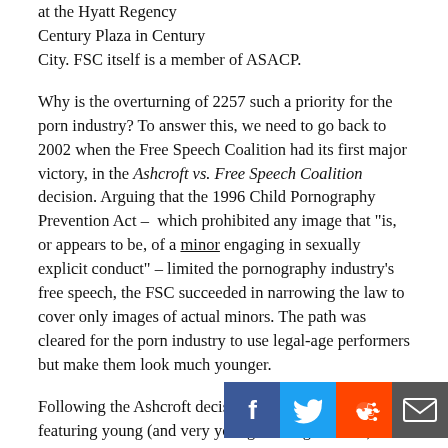at the Hyatt Regency Century Plaza in Century City. FSC itself is a member of ASACP.
Why is the overturning of 2257 such a priority for the porn industry? To answer this, we need to go back to 2002 when the Free Speech Coalition had its first major victory, in the Ashcroft vs. Free Speech Coalition decision. Arguing that the 1996 Child Pornography Prevention Act – which prohibited any image that "is, or appears to be, of a minor engaging in sexually explicit conduct" – limited the pornography industry's free speech, the FSC succeeded in narrowing the law to cover only images of actual minors. The path was cleared for the porn industry to use legal-age performers but make them look much younger.
Following the Ashcroft decision, Internet porn sites featuring young (and very young-looking females) exploded, and the industry realized that ho a very lucrative market segment. Our research